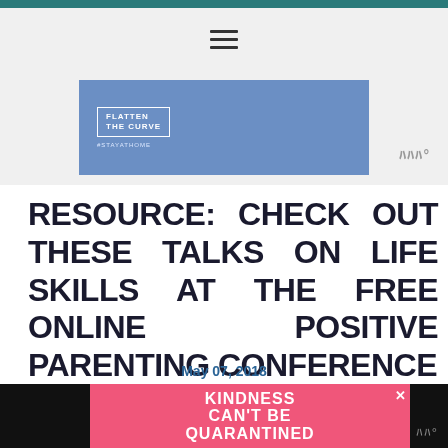[Figure (logo): Flatten the Curve logo on blue banner with #stayathome text]
RESOURCE: CHECK OUT THESE TALKS ON LIFE SKILLS AT THE FREE ONLINE POSITIVE PARENTING CONFERENCE
May 07, 2018
Track #4: Habits & Life Skills (Part 1)
[Figure (photo): Ad banner: Kindness Can't Be Quarantined on pink background]